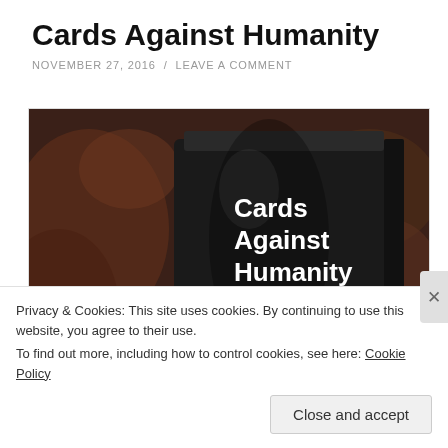Cards Against Humanity
NOVEMBER 27, 2016 / LEAVE A COMMENT
[Figure (photo): Photo of Cards Against Humanity Fourth Expansion card game box, black box with white text, placed on a marble or stone surface. A red object is partially visible at the lower left.]
Privacy & Cookies: This site uses cookies. By continuing to use this website, you agree to their use.
To find out more, including how to control cookies, see here: Cookie Policy
Close and accept